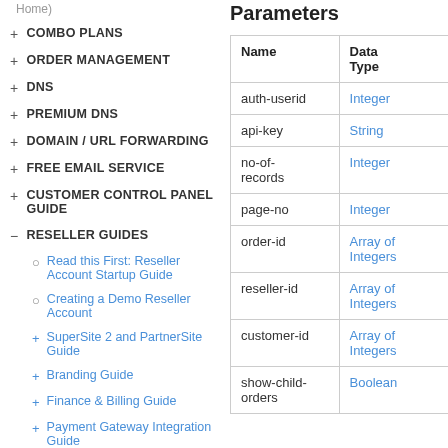+ COMBO PLANS
+ ORDER MANAGEMENT
+ DNS
+ PREMIUM DNS
+ DOMAIN / URL FORWARDING
+ FREE EMAIL SERVICE
+ CUSTOMER CONTROL PANEL GUIDE
- RESELLER GUIDES
○ Read this First: Reseller Account Startup Guide
○ Creating a Demo Reseller Account
+ SuperSite 2 and PartnerSite Guide
+ Branding Guide
+ Finance & Billing Guide
+ Payment Gateway Integration Guide
Parameters
| Name | Data Type |
| --- | --- |
| auth-userid | Integer |
| api-key | String |
| no-of-records | Integer |
| page-no | Integer |
| order-id | Array of Integers |
| reseller-id | Array of Integers |
| customer-id | Array of Integers |
| show-child-orders | Boolean |